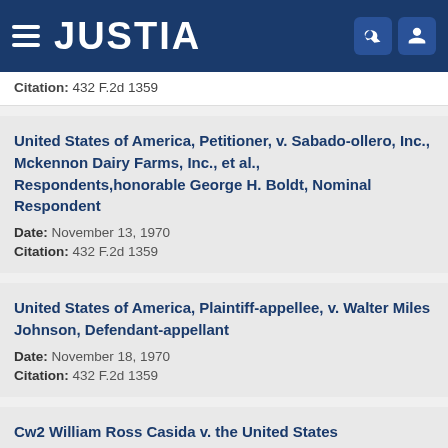JUSTIA
Citation: 432 F.2d 1359
United States of America, Petitioner, v. Sabado-ollero, Inc., Mckennon Dairy Farms, Inc., et al., Respondents,honorable George H. Boldt, Nominal Respondent
Date: November 13, 1970
Citation: 432 F.2d 1359
United States of America, Plaintiff-appellee, v. Walter Miles Johnson, Defendant-appellant
Date: November 18, 1970
Citation: 432 F.2d 1359
Cw2 William Ross Casida v. the United States